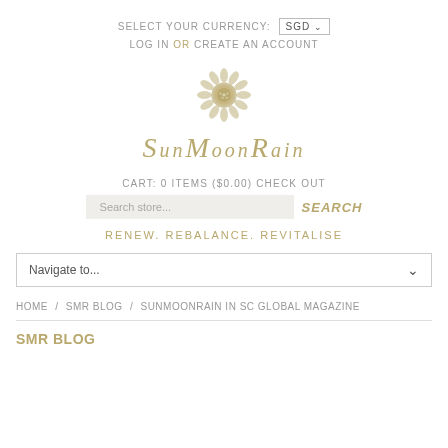SELECT YOUR CURRENCY: SGD ▾
LOG IN OR CREATE AN ACCOUNT
[Figure (logo): SunMoonRain sunflower logo in gold, ornate floral design]
SunMoonRain
CART: 0 ITEMS ($0.00) CHECK OUT
Search store... SEARCH
RENEW. REBALANCE. REVITALISE
Navigate to...
HOME / SMR BLOG / SUNMOONRAIN IN SC GLOBAL MAGAZINE
SMR BLOG